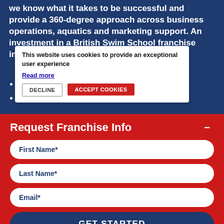we know what it takes to be successful and provide a 360-degree approach across business operations, aquatics and marketing support. An investment in a British Swim School franchise includes support in:
This website uses cookies to provide an exceptional user experience
Read more
DECLINE
ACCEPT COOKIES
Identifying and securing pool partnerships
Securing contracts and insurance at minimal
Request Franchise Info
First Name*
Last Name*
Email*
GET STARTED